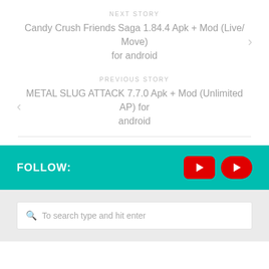NEXT STORY
Candy Crush Friends Saga 1.84.4 Apk + Mod (Live/ Move) for android
PREVIOUS STORY
METAL SLUG ATTACK 7.7.0 Apk + Mod (Unlimited AP) for android
FOLLOW:
[Figure (screenshot): Two YouTube play button icons in red]
To search type and hit enter